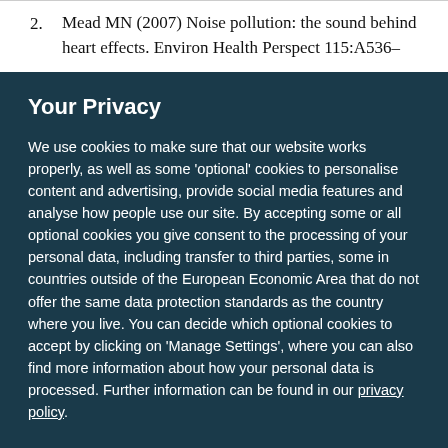2. Mead MN (2007) Noise pollution: the sound behind heart effects. Environ Health Perspect 115:A536–
Your Privacy
We use cookies to make sure that our website works properly, as well as some 'optional' cookies to personalise content and advertising, provide social media features and analyse how people use our site. By accepting some or all optional cookies you give consent to the processing of your personal data, including transfer to third parties, some in countries outside of the European Economic Area that do not offer the same data protection standards as the country where you live. You can decide which optional cookies to accept by clicking on 'Manage Settings', where you can also find more information about how your personal data is processed. Further information can be found in our privacy policy.
Accept all cookies
Manage preferences